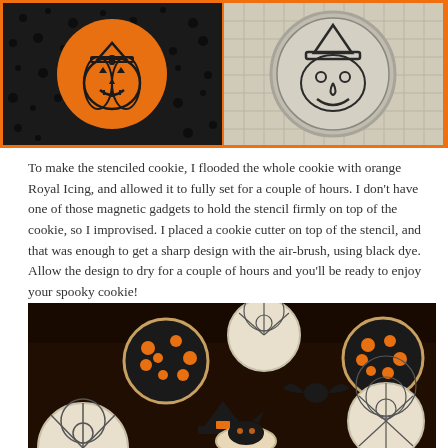[Figure (photo): Two-photo collage with orange border. Left: round cookie decorated with orange icing and a black jack-o-lantern stencil design on dark background. Right: round metal tin/stamp with a witch face stencil design, sitting on a grid surface.]
To make the stenciled cookie, I flooded the whole cookie with orange Royal Icing, and allowed it to fully set for a couple of hours. I don't have one of those magnetic gadgets to hold the stencil firmly on top of the cookie, so I improvised. I placed a cookie cutter on top of the stencil, and that was enough to get a sharp design with the air-brush, using black dye. Allow the design to dry for a couple of hours and you'll be ready to enjoy your spooky cookie!
[Figure (photo): Dark background photo of multiple Halloween-themed mini cookies: round cookies with spider web and orange dot patterns in black, cat-shaped cookie, witch hat cookie, bat-shaped cookie, and spider web round cookies.]